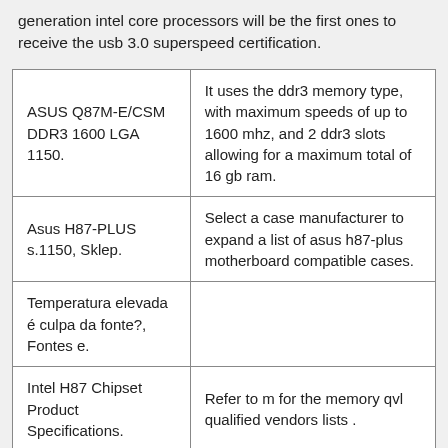generation intel core processors will be the first ones to receive the usb 3.0 superspeed certification.
| ASUS Q87M-E/CSM DDR3 1600 LGA 1150. | It uses the ddr3 memory type, with maximum speeds of up to 1600 mhz, and 2 ddr3 slots allowing for a maximum total of 16 gb ram. |
| Asus H87-PLUS s.1150, Sklep. | Select a case manufacturer to expand a list of asus h87-plus motherboard compatible cases. |
| Temperatura elevada é culpa da fonte?, Fontes e. |  |
| Intel H87 Chipset Product Specifications. | Refer to m for the memory qvl qualified vendors lists . |